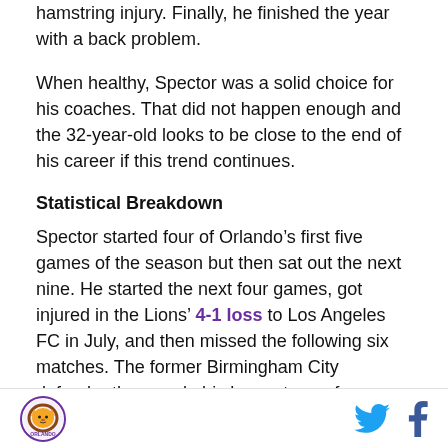hamstring injury. Finally, he finished the year with a back problem.
When healthy, Spector was a solid choice for his coaches. That did not happen enough and the 32-year-old looks to be close to the end of his career if this trend continues.
Statistical Breakdown
Spector started four of Orlando’s first five games of the season but then sat out the next nine. He started the next four games, got injured in the Lions’ 4-1 loss to Los Angeles FC in July, and then missed the following six matches. The former Birmingham City defender then made his longest run of games of the season. He
Orlando Lions logo, Twitter icon, Facebook icon